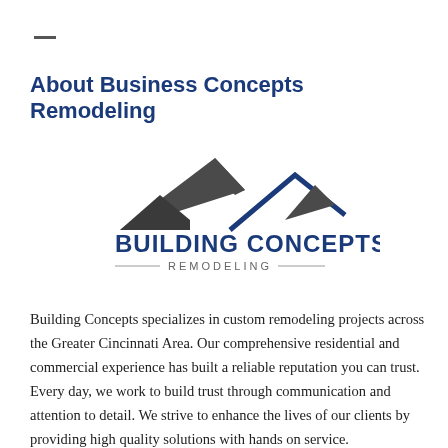About Business Concepts Remodeling
[Figure (logo): Building Concepts Remodeling logo: two roof/house outlines in dark gray and blue above the text 'BUILDING CONCEPTS' in bold blue and 'REMODELING' in gray with decorative lines on either side.]
Building Concepts specializes in custom remodeling projects across the Greater Cincinnati Area. Our comprehensive residential and commercial experience has built a reliable reputation you can trust. Every day, we work to build trust through communication and attention to detail. We strive to enhance the lives of our clients by providing high quality solutions with hands on service.